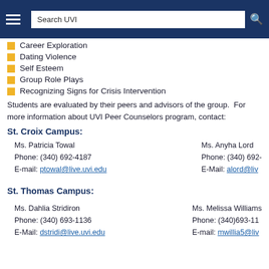Search UVI
Career Exploration
Dating Violence
Self Esteem
Group Role Plays
Recognizing Signs for Crisis Intervention
Students are evaluated by their peers and advisors of the group.  For more information about UVI Peer Counselors program, contact:
St. Croix Campus:
Ms. Patricia Towal
Phone: (340) 692-4187
E-mail: ptowal@live.uvi.edu
Ms. Anyha Lord
Phone: (340) 692-
E-Mail: alord@liv
St. Thomas Campus:
Ms. Dahlia Stridiron
Phone: (340) 693-1136
E-Mail: dstridi@live.uvi.edu
Ms. Melissa Williams
Phone: (340)693-11
E-mail: mwillia5@liv